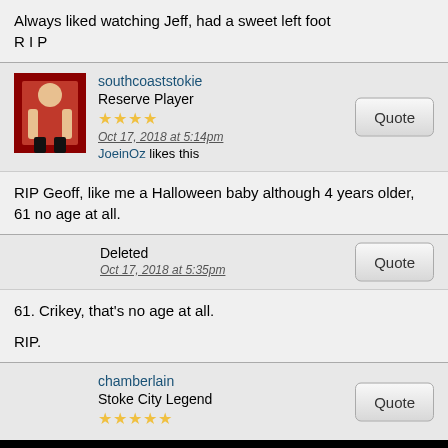Always liked watching Jeff, had a sweet left foot
R I P
southcoaststokie
Reserve Player
★★★★
Oct 17, 2018 at 5:14pm
JoeinOz likes this
RIP Geoff, like me a Halloween baby although 4 years older, 61 no age at all.
Deleted
Oct 17, 2018 at 5:35pm
61. Crikey, that's no age at all.

RIP.
chamberlain
Stoke City Legend
★★★★★